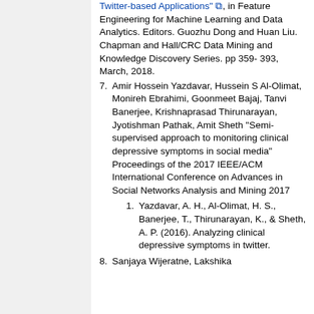Twitter-based Applications", in Feature Engineering for Machine Learning and Data Analytics. Editors. Guozhu Dong and Huan Liu. Chapman and Hall/CRC Data Mining and Knowledge Discovery Series. pp 359-393, March, 2018.
7. Amir Hossein Yazdavar, Hussein S Al-Olimat, Monireh Ebrahimi, Goonmeet Bajaj, Tanvi Banerjee, Krishnaprasad Thirunarayan, Jyotishman Pathak, Amit Sheth "Semi-supervised approach to monitoring clinical depressive symptoms in social media" Proceedings of the 2017 IEEE/ACM International Conference on Advances in Social Networks Analysis and Mining 2017
1. Yazdavar, A. H., Al-Olimat, H. S., Banerjee, T., Thirunarayan, K., & Sheth, A. P. (2016). Analyzing clinical depressive symptoms in twitter.
8. Sanjaya Wijeratne, Lakshika